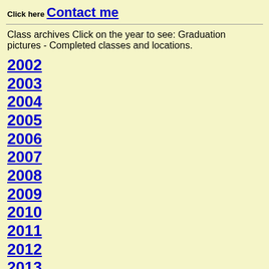Click here Contact me
Class archives Click on the year to see: Graduation pictures - Completed classes and locations.
2002
2003
2004
2005
2006
2007
2008
2009
2010
2011
2012
2013
2014